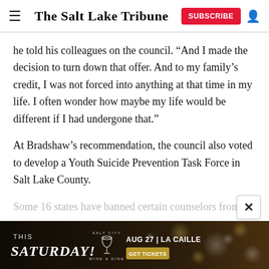The Salt Lake Tribune
he told his colleagues on the council. “And I made the decision to turn down that offer. And to my family’s credit, I was not forced into anything at that time in my life. I often wonder how maybe my life would be different if I had undergone that.”
At Bradshaw’s recommendation, the council also voted to develop a Youth Suicide Prevention Task Force in Salt Lake County.
Some 16 states have banned certain counselors from
[Figure (advertisement): Salt City Wine & Dine advertisement banner: THIS SATURDAY! SALT CITY WINE & DINE, AUG 27 | LA CAILLE, GET TICKETS button, dark brown background with bokeh lights]